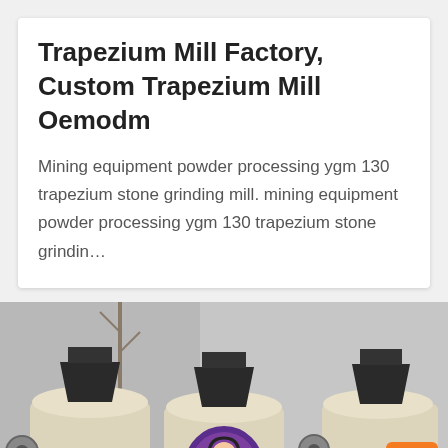Trapezium Mill Factory, Custom Trapezium Mill Oemodm
Mining equipment powder processing ygm 130 trapezium stone grinding mill. mining equipment powder processing ygm 130 trapezium stone grindin…
[Figure (photo): Photo of multiple large industrial trapezium mill machines (cream/off-white colored cylindrical grinding mills with red accent bands) parked outdoors in front of a building, bare trees visible in background.]
Leave Message
Chat Online